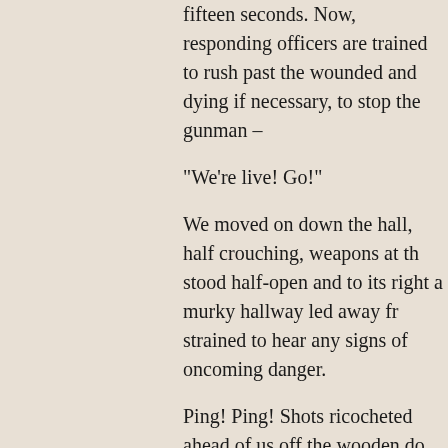fifteen seconds. Now, responding officers are trained to rush past the wounded and dying if necessary, to stop the gunman –
“We’re live! Go!”
We moved on down the hall, half crouching, weapons at the ready. A door stood half-open and to its right a murky hallway led away from us. We strained to hear any signs of oncoming danger.
Ping! Ping! Shots ricocheted ahead of us off the wooden do
I instantly flattened myself to the wall, finger tensed on the
After a moment spent collecting my senses, I edged forward. Around me, the rest of the team stayed close, until our lead and a series of shots pelted the door frame, scattering amo I felt a sharp burning sting in my upper right thigh and daze
The last words the Captain had said resonated in my head: remember, that would have been a bullet.”
My hand involuntarily crept down and felt, through thin cott made my stomach pitch and roll.
We began to race forward, hearing more shots, knowing w scrambled past a doorway, unable to see in the dark wheth after me. By the time we had made it to a pitch black class cursing, and some of us were stinging with pain.